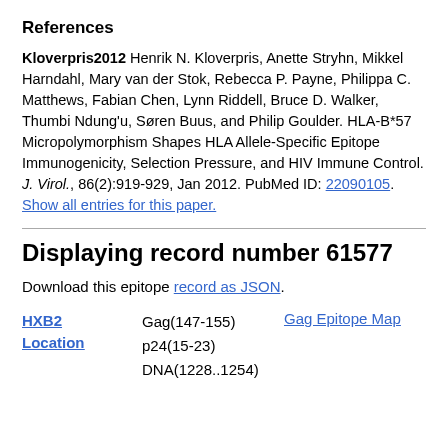References
Kloverpris2012 Henrik N. Kloverpris, Anette Stryhn, Mikkel Harndahl, Mary van der Stok, Rebecca P. Payne, Philippa C. Matthews, Fabian Chen, Lynn Riddell, Bruce D. Walker, Thumbi Ndung'u, Søren Buus, and Philip Goulder. HLA-B*57 Micropolymorphism Shapes HLA Allele-Specific Epitope Immunogenicity, Selection Pressure, and HIV Immune Control. J. Virol., 86(2):919-929, Jan 2012. PubMed ID: 22090105. Show all entries for this paper.
Displaying record number 61577
Download this epitope record as JSON.
| HXB2 Location | Locations | Map |
| --- | --- | --- |
| HXB2 Location | Gag(147-155)
p24(15-23)
DNA(1228..1254) | Gag Epitope Map |